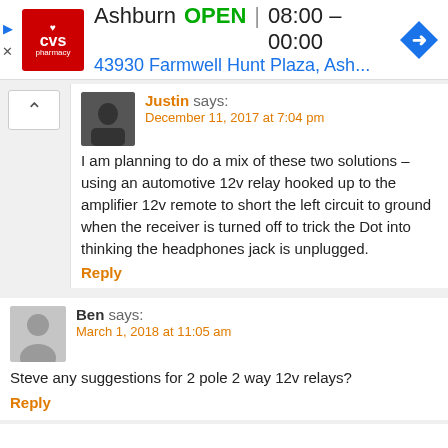[Figure (screenshot): CVS Pharmacy ad banner showing Ashburn store, OPEN status, hours 08:00 - 00:00, address 43930 Farmwell Hunt Plaza, Ash..., with navigation arrow icon]
Justin says:
December 11, 2017 at 7:04 pm
I am planning to do a mix of these two solutions – using an automotive 12v relay hooked up to the amplifier 12v remote to short the left circuit to ground when the receiver is turned off to trick the Dot into thinking the headphones jack is unplugged.
Reply
Ben says:
March 1, 2018 at 11:05 am
Steve any suggestions for 2 pole 2 way 12v relays?
Reply